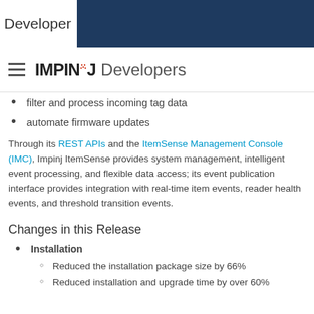Developer
IMPINJ Developers
filter and process incoming tag data
automate firmware updates
Through its REST APIs and the ItemSense Management Console (IMC), Impinj ItemSense provides system management, intelligent event processing, and flexible data access; its event publication interface provides integration with real-time item events, reader health events, and threshold transition events.
Changes in this Release
Installation
Reduced the installation package size by 66%
Reduced installation and upgrade time by over 60%